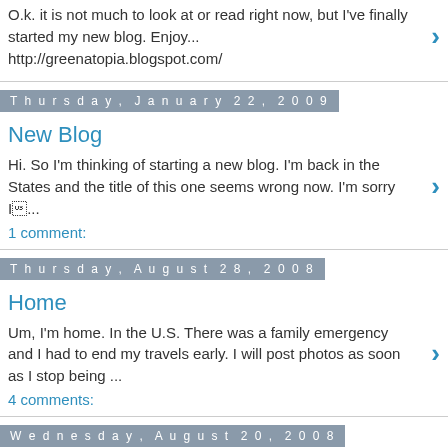O.k. it is not much to look at or read right now, but I've finally started my new blog. Enjoy... http://greenatopia.blogspot.com/
Thursday, January 22, 2009
New Blog
Hi. So I'm thinking of starting a new blog. I'm back in the States and the title of this one seems wrong now. I'm sorry I…...
1 comment:
Thursday, August 28, 2008
Home
Um, I'm home. In the U.S. There was a family emergency and I had to end my travels early. I will post photos as soon as I stop being ...
4 comments:
Wednesday, August 20, 2008
A Dream for the Sunglasses at the Bottom of the Lake
I forgot to mention, my prescription sunglasses are now at the